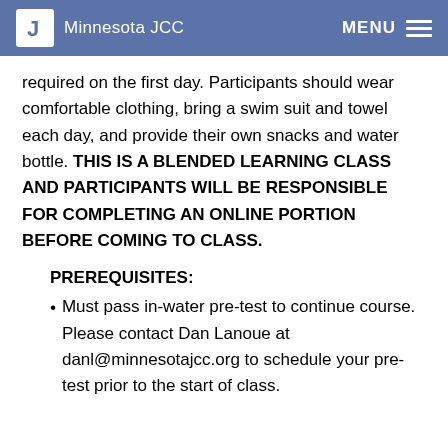Minnesota JCC
required on the first day. Participants should wear comfortable clothing, bring a swim suit and towel each day, and provide their own snacks and water bottle. THIS IS A BLENDED LEARNING CLASS AND PARTICIPANTS WILL BE RESPONSIBLE FOR COMPLETING AN ONLINE PORTION BEFORE COMING TO CLASS.
PREREQUISITES:
Must pass in-water pre-test to continue course. Please contact Dan Lanoue at danl@minnesotajcc.org to schedule your pre-test prior to the start of class.